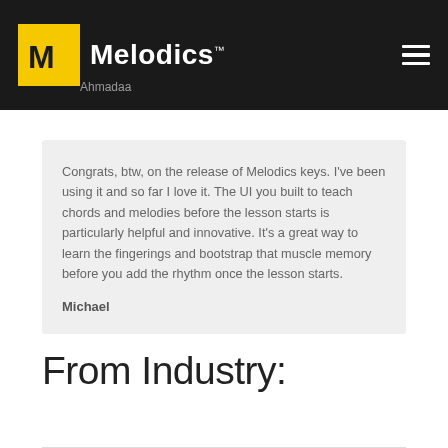Melodics™
Oh Loved, I just fiddled with V2 of Melodics and its absolutely amazing! Well done guys!
Ahmadaa
Congrats, btw, on the release of Melodics keys. I've been using it and so far I love it. The UI you built to teach chords and melodies before the lesson starts is particularly helpful and innovative. It's a great way to learn the fingerings and bootstrap that muscle memory before you add the rhythm once the lesson starts.
Michael
From Industry: